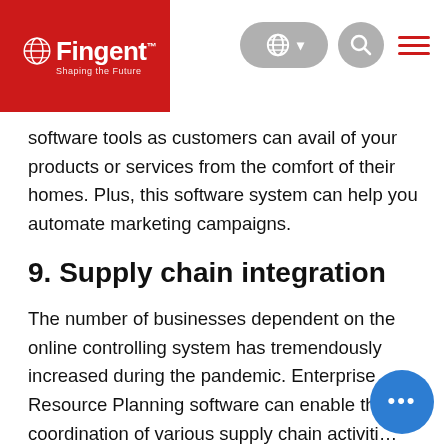Fingent — Shaping the Future
software tools as customers can avail of your products or services from the comfort of their homes. Plus, this software system can help you automate marketing campaigns.
9. Supply chain integration
The number of businesses dependent on the online controlling system has tremendously increased during the pandemic. Enterprise Resource Planning software can enable the coordination of various supply chain activities from anywhere in the world. The investors control all operations from the safety of his location, through using an ERP software...